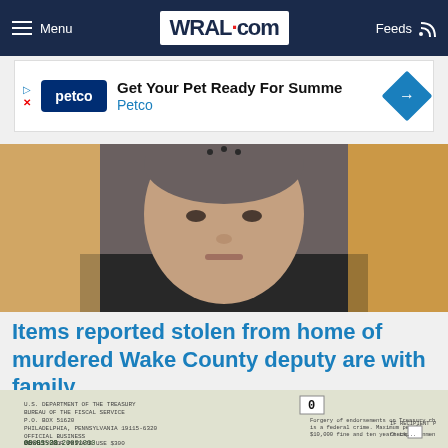Menu  WRAL.com  Feeds
[Figure (screenshot): Petco advertisement banner: Get Your Pet Ready For Summer - Petco]
[Figure (photo): Close-up headshot photo of a man with a shaved head wearing a dark jacket, against a blurred warm-toned background]
Items reported stolen from home of murdered Wake County deputy are with family
WRAL
[Figure (photo): Close-up photo of a U.S. Treasury check document with printed text and numbers]